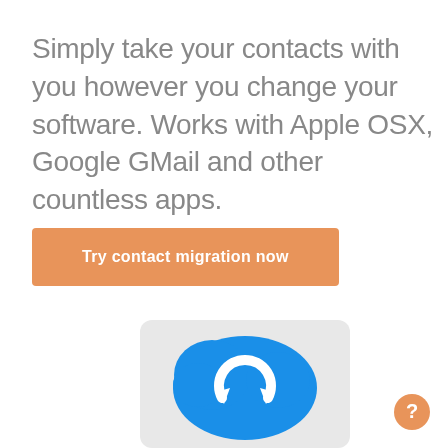Simply take your contacts with you however you change your software. Works with Apple OSX, Google GMail and other countless apps.
[Figure (other): Orange call-to-action button reading 'Try contact migration now']
[Figure (illustration): Blue cloud icon with circular arrow refresh symbol, partially visible, on a light gray rounded rectangle background]
[Figure (other): Orange circular help/question mark button in the bottom-right corner]